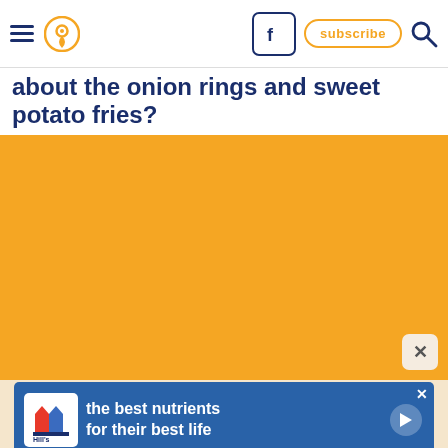Navigation bar with hamburger menu, location pin icon, Facebook button, subscribe button, and search icon
about the onion rings and sweet potato fries?
[Figure (photo): Large orange/amber colored content area filling most of the page, with a small X close button in the lower right corner]
[Figure (other): Hill's pet nutrition advertisement banner: blue background with Hill's logo on left, text 'the best nutrients for their best life', play button on right, close X button in top right corner]